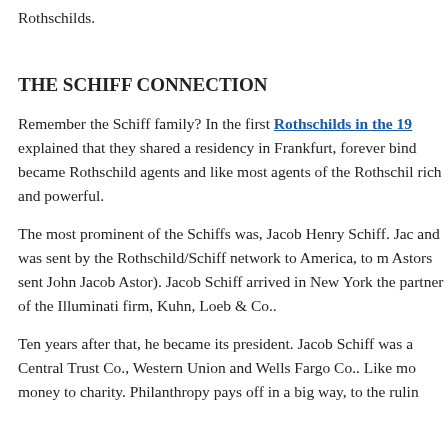Rothschilds.
THE SCHIFF CONNECTION
Remember the Schiff family? In the first Rothschilds in the 19... explained that they shared a residency in Frankfurt, forever bind... became Rothschild agents and like most agents of the Rothschil... rich and powerful.
The most prominent of the Schiffs was, Jacob Henry Schiff. Jac... and was sent by the Rothschild/Schiff network to America, to m... Astors sent John Jacob Astor). Jacob Schiff arrived in New York... the partner of the Illuminati firm, Kuhn, Loeb & Co..
Ten years after that, he became its president. Jacob Schiff was a... Central Trust Co., Western Union and Wells Fargo Co.. Like mo... money to charity. Philanthropy pays off in a big way, to the rulin...
JEKYLL ISLAND